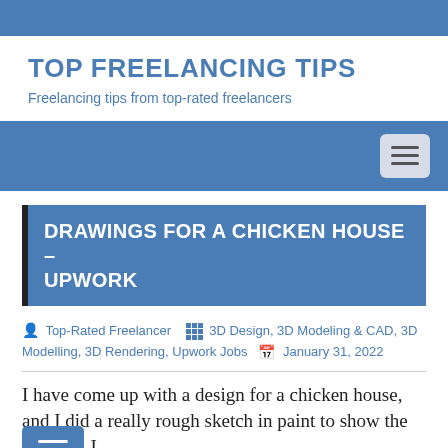TOP FREELANCING TIPS
Freelancing tips from top-rated freelancers
[Figure (screenshot): Navigation bar with hamburger menu icon on right]
DRAWINGS FOR A CHICKEN HOUSE – UPWORK
Top-Rated Freelancer  3D Design, 3D Modeling & CAD, 3D Modelling, 3D Rendering, Upwork Jobs  January 31, 2022
I have come up with a design for a chicken house, and I did a really rough sketch in paint to show the concept. I